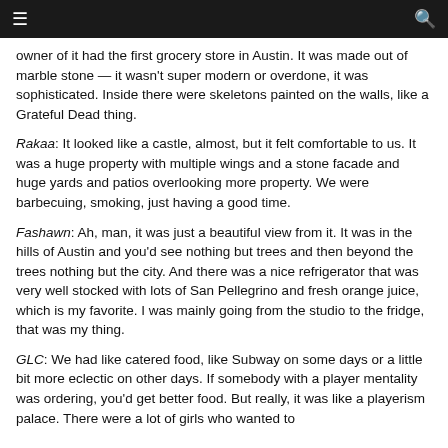≡  🔍
owner of it had the first grocery store in Austin. It was made out of marble stone — it wasn't super modern or overdone, it was sophisticated. Inside there were skeletons painted on the walls, like a Grateful Dead thing.
Rakaa: It looked like a castle, almost, but it felt comfortable to us. It was a huge property with multiple wings and a stone facade and huge yards and patios overlooking more property. We were barbecuing, smoking, just having a good time.
Fashawn: Ah, man, it was just a beautiful view from it. It was in the hills of Austin and you'd see nothing but trees and then beyond the trees nothing but the city. And there was a nice refrigerator that was very well stocked with lots of San Pellegrino and fresh orange juice, which is my favorite. I was mainly going from the studio to the fridge, that was my thing.
GLC: We had like catered food, like Subway on some days or a little bit more eclectic on other days. If somebody with a player mentality was ordering, you'd get better food. But really, it was like a playerism palace. There were a lot of girls who wanted to